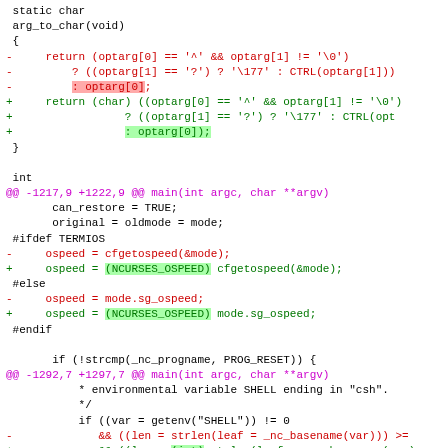static char
arg_to_char(void)
{
-     return (optarg[0] == '^' && optarg[1] != '\0')
-         ? ((optarg[1] == '?') ? '\177' : CTRL(optarg[1]))
-         : optarg[0];
+     return (char) ((optarg[0] == '^' && optarg[1] != '\0')
+                 ? ((optarg[1] == '?') ? '\177' : CTRL(opt
+                 : optarg[0]);
 }

 int
@@ -1217,9 +1222,9 @@ main(int argc, char **argv)
       can_restore = TRUE;
       original = oldmode = mode;
 #ifdef TERMIOS
-      ospeed = cfgetospeed(&mode);
+      ospeed = (NCURSES_OSPEED) cfgetospeed(&mode);
 #else
-      ospeed = mode.sg_ospeed;
+      ospeed = (NCURSES_OSPEED) mode.sg_ospeed;
 #endif

       if (!strcmp(_nc_progname, PROG_RESET)) {
@@ -1292,7 +1297,7 @@ main(int argc, char **argv)
           * environmental variable SHELL ending in "csh".
           */
           if ((var = getenv("SHELL")) != 0
-             && ((len = strlen(leaf = _nc_basename(var))) >=
+             && ((len = (int) strlen(leaf = _nc_basename(var)
               && !strcmp(leaf + len - 3, "csh"))
               p = "set noglob;\nsetenv_TERM %s;\nunset_noglob